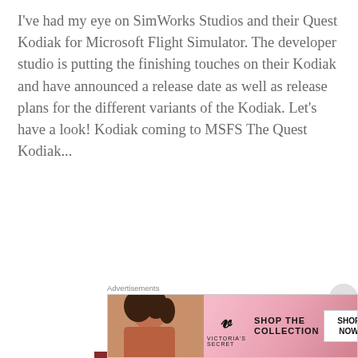I've had my eye on SimWorks Studios and their Quest Kodiak for Microsoft Flight Simulator. The developer studio is putting the finishing touches on their Kodiak and have announced a release date as well as release plans for the different variants of the Kodiak. Let's have a look! Kodiak coming to MSFS The Quest Kodiak...
READ MORE
[Figure (screenshot): Dark navy blue footer/navigation section of a website]
Advertisements
[Figure (photo): Victoria's Secret advertisement banner with woman model on left, pink gradient background, Victoria's Secret logo in center, 'SHOP THE COLLECTION' text, and 'SHOP NOW' button on right]